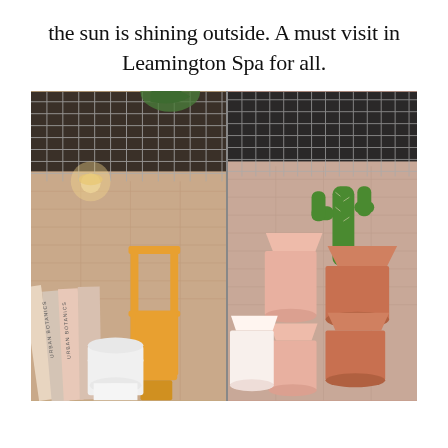the sun is shining outside. A must visit in Leamington Spa for all.
[Figure (photo): Interior of a plant/lifestyle shop with wire grid ceiling. Left panel shows books (Urban Botanics titles), terracotta and white pots, and a yellow metal rack. Right panel shows stacked terracotta and pink pots with a cactus. Pink tiled walls visible in the background.]